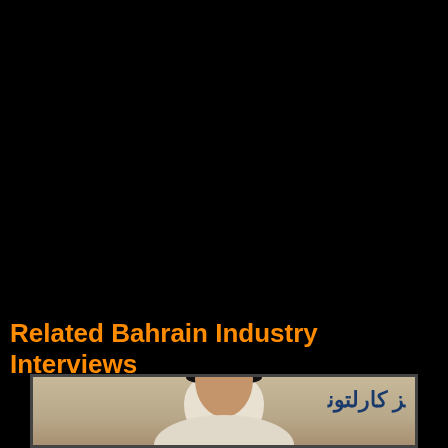Related Bahrain Industry Interviews
[Figure (photo): Photograph of a man wearing a white keffiyeh and agal (traditional Gulf Arab headwear), with Arabic text overlay reading partial text. The image is partially visible at the bottom of the page, framed with a dark border.]